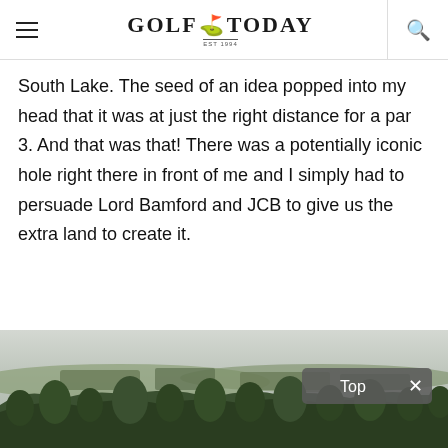Golf Today
South Lake. The seed of an idea popped into my head that it was at just the right distance for a par 3. And that was that! There was a potentially iconic hole right there in front of me and I simply had to persuade Lord Bamford and JCB to give us the extra land to create it.
[Figure (photo): Landscape panoramic view showing rolling countryside with trees and hedgerows under an overcast sky, with a 'Top ×' dismiss button overlay in the bottom-right corner.]